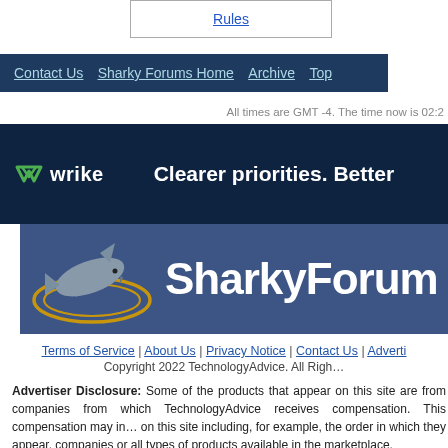[Figure (other): Partial box at top with 'Rules' link visible]
Contact Us  Sharky Forums Home  Archive  Top
All times are GMT -4. The time now is 02:2...
[Figure (other): Wrike advertisement banner: Wrike logo with checkmark, tagline 'Clearer priorities. Better...']
[Figure (logo): SharkyForums banner with shark logo and text 'SharkyForu...']
Terms of Service | About Us | Privacy Notice | Contact Us | Adverti...
Copyright 2022 TechnologyAdvice. All Righ...
Advertiser Disclosure: Some of the products that appear on this site are from companies from which TechnologyAdvice receives compensation. This compensation may impact how and where products appear on this site including, for example, the order in which they appear. TechnologyAdvice does not represent all companies or all types of products available in the marketplace.